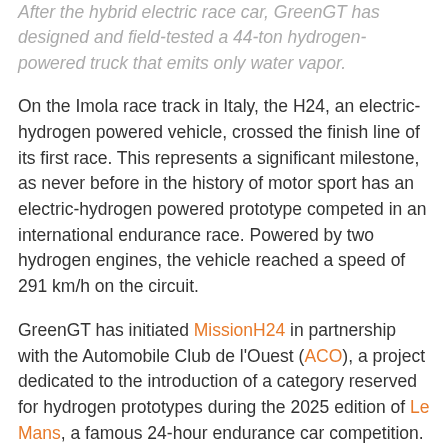After the hybrid electric race car, GreenGT has designed and field-tested a 44-ton hydrogen-powered truck that emits only water vapor.
On the Imola race track in Italy, the H24, an electric-hydrogen powered vehicle, crossed the finish line of its first race. This represents a significant milestone, as never before in the history of motor sport has an electric-hydrogen powered prototype competed in an international endurance race. Powered by two hydrogen engines, the vehicle reached a speed of 291 km/h on the circuit.
GreenGT has initiated MissionH24 in partnership with the Automobile Club de l'Ouest (ACO), a project dedicated to the introduction of a category reserved for hydrogen prototypes during the 2025 edition of Le Mans, a famous 24-hour endurance car competition.